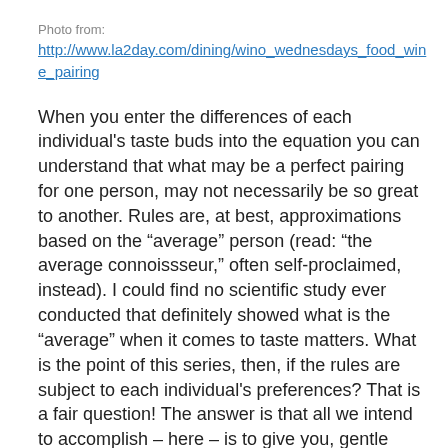Photo from:
http://www.la2day.com/dining/wino_wednesdays_food_wine_pairing
When you enter the differences of each individual's taste buds into the equation you can understand that what may be a perfect pairing for one person, may not necessarily be so great to another. Rules are, at best, approximations based on the “average” person (read: “the average connoissseur,” often self-proclaimed, instead). I could find no scientific study ever conducted that definitely showed what is the “average” when it comes to taste matters. What is the point of this series, then, if the rules are subject to each individual's preferences? That is a fair question! The answer is that all we intend to accomplish – here – is to give you, gentle reader, some departure points as you embark on your very own food and wine pairing